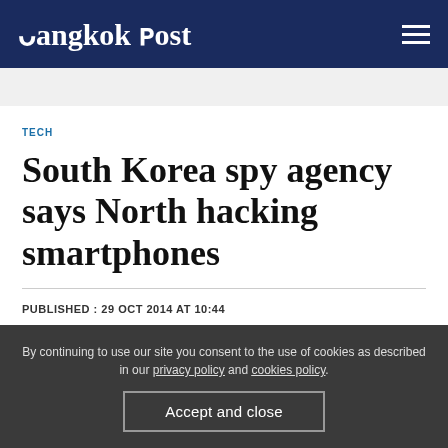Bangkok Post
TECH
South Korea spy agency says North hacking smartphones
PUBLISHED : 29 OCT 2014 AT 10:44
By continuing to use our site you consent to the use of cookies as described in our privacy policy and cookies policy.
Accept and close